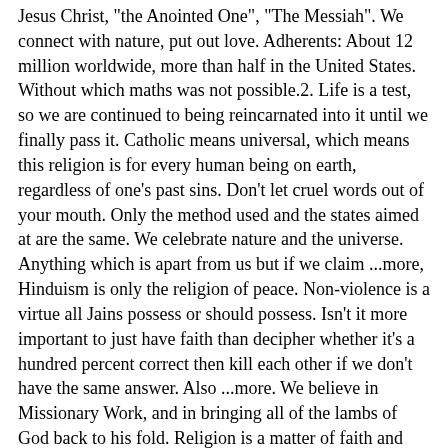Jesus Christ, "the Anointed One", "The Messiah". We connect with nature, put out love. Adherents: About 12 million worldwide, more than half in the United States. Without which maths was not possible.2. Life is a test, so we are continued to being reincarnated into it until we finally pass it. Catholic means universal, which means this religion is for every human being on earth, regardless of one's past sins. Don't let cruel words out of your mouth. Only the method used and the states aimed at are the same. We celebrate nature and the universe. Anything which is apart from us but if we claim ...more, Hinduism is only the religion of peace. Non-violence is a virtue all Jains possess or should possess. Isn't it more important to just have faith than decipher whether it's a hundred percent correct then kill each other if we don't have the same answer. Also ...more. We believe in Missionary Work, and in bringing all of the lambs of God back to his fold. Religion is a matter of faith and belief. But they can be found in many international cities and have become an especially strong religious presence in the United Kingdom and Canada. I only vote Christian because I am one, even though we're all right here. Agnosticism, the belief that no one can know for sure, and any other title that someone has which means: "I have no religion." Around the year 2000 BC according to the aficionados there was always a presence of supernatural power around the trademark world of Japanese religion. Much more peaceful than the religion that replaced it. Some great facts about Hinduism are as follows:1. Iran blames